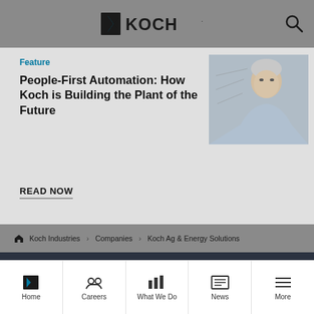KOCH
Feature
People-First Automation: How Koch is Building the Plant of the Future
READ NOW
[Figure (photo): Photo of a man looking upward in an industrial or laboratory setting]
Koch Industries  >  Companies  >  Koch Ag & Energy Solutions
Get updates from Koch delivered right to your inbox.
Home   Careers   What We Do   News   More